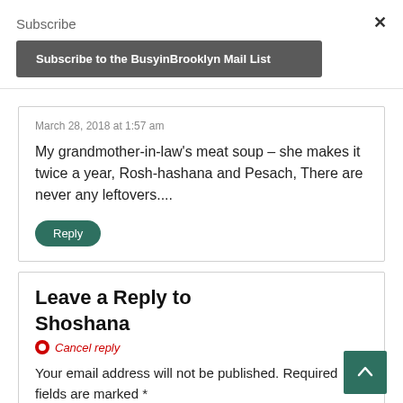Subscribe
Subscribe to the BusyinBrooklyn Mail List
March 28, 2018 at 1:57 am
My grandmother-in-law's meat soup – she makes it twice a year, Rosh-hashana and Pesach, There are never any leftovers....
Reply
Leave a Reply to Shoshana
Cancel reply
Your email address will not be published. Required fields are marked *